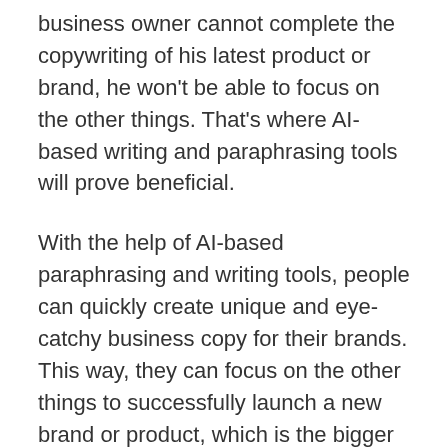business owner cannot complete the copywriting of his latest product or brand, he won't be able to focus on the other things. That's where AI-based writing and paraphrasing tools will prove beneficial.
With the help of AI-based paraphrasing and writing tools, people can quickly create unique and eye-catchy business copy for their brands. This way, they can focus on the other things to successfully launch a new brand or product, which is the bigger picture.